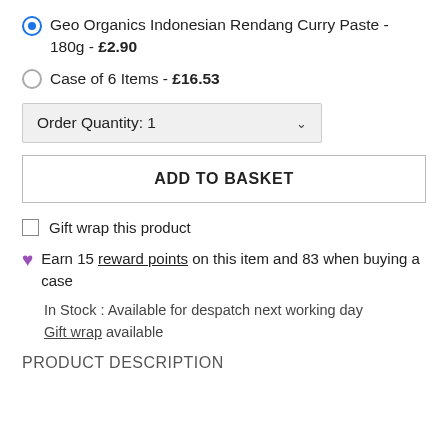Geo Organics Indonesian Rendang Curry Paste - 180g - £2.90
Case of 6 Items - £16.53
Order Quantity: 1
ADD TO BASKET
Gift wrap this product
Earn 15 reward points on this item and 83 when buying a case
In Stock : Available for despatch next working day
Gift wrap available
PRODUCT DESCRIPTION